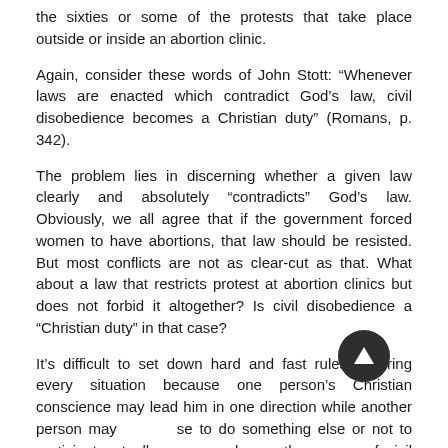the sixties or some of the protests that take place outside or inside an abortion clinic.
Again, consider these words of John Stott: “Whenever laws are enacted which contradict God’s law, civil disobedience becomes a Christian duty” (Romans, p. 342).
The problem lies in discerning whether a given law clearly and absolutely “contradicts” God’s law. Obviously, we all agree that if the government forced women to have abortions, that law should be resisted. But most conflicts are not as clear-cut as that. What about a law that restricts protest at abortion clinics but does not forbid it altogether? Is civil disobedience a “Christian duty” in that case?
It’s difficult to set down hard and fast rules covering every situation because one person’s Christian conscience may lead him in one direction while another person may choose to do something else or not to participate at all. But if you choose the course of civil disobedience, it seems to me that it must be over an issue of clear biblical teaching,